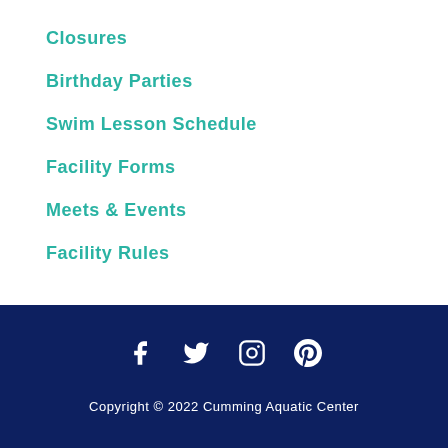Closures
Birthday Parties
Swim Lesson Schedule
Facility Forms
Meets & Events
Facility Rules
[Figure (infographic): Social media icons: Facebook, Twitter, Instagram, Pinterest in white on dark navy background]
Copyright © 2022 Cumming Aquatic Center